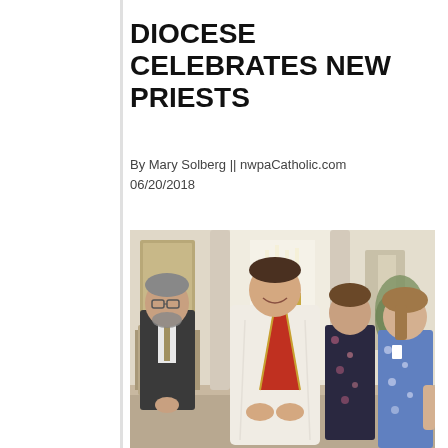DIOCESE CELEBRATES NEW PRIESTS
By Mary Solberg || nwpaCatholic.com
06/20/2018
[Figure (photo): Group photo of four people standing together in a church setting. A young man in white vestments with a red stole stands in the center. To his left is an older man in a dark suit. To his right are two women, one in a dark floral dress and one in a blue floral dress. Church interior with candles and columns visible in the background.]